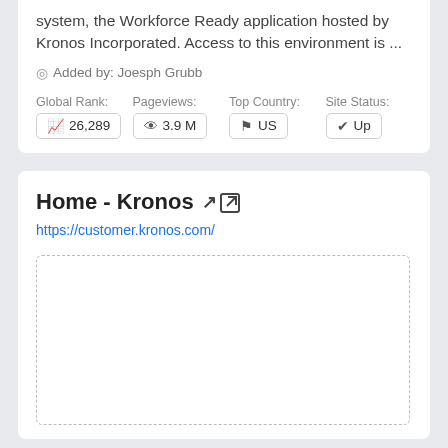system, the Workforce Ready application hosted by Kronos Incorporated. Access to this environment is ...
Added by: Joesph Grubb
| Global Rank: | Pageviews: | Top Country: | Site Status: |
| --- | --- | --- | --- |
| 26,289 | 3.9 M | US | Up |
Home - Kronos
https://customer.kronos.com/
[Figure (other): Empty dashed-border preview box placeholder]